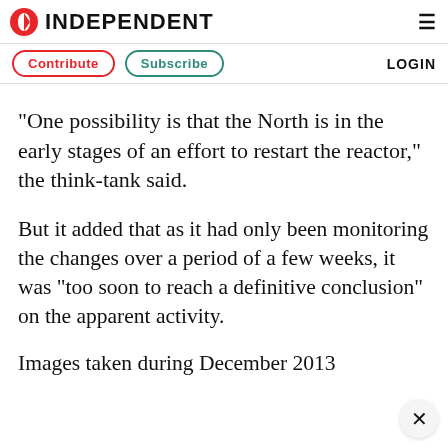INDEPENDENT
Contribute   Subscribe   LOGIN
"One possibility is that the North is in the early stages of an effort to restart the reactor," the think-tank said.
But it added that as it had only been monitoring the changes over a period of a few weeks, it was "too soon to reach a definitive conclusion" on the apparent activity.
Images taken during December 2013